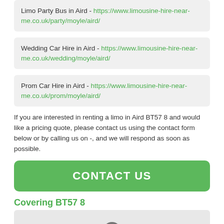Limo Party Bus in Aird - https://www.limousine-hire-near-me.co.uk/party/moyle/aird/
Wedding Car Hire in Aird - https://www.limousine-hire-near-me.co.uk/wedding/moyle/aird/
Prom Car Hire in Aird - https://www.limousine-hire-near-me.co.uk/prom/moyle/aird/
If you are interested in renting a limo in Aird BT57 8 and would like a pricing quote, please contact us using the contact form below or by calling us on -, and we will respond as soon as possible.
CONTACT US
Covering BT57 8
[Figure (map): Map placeholder showing BT57 8 area with a grey circular info/location icon]